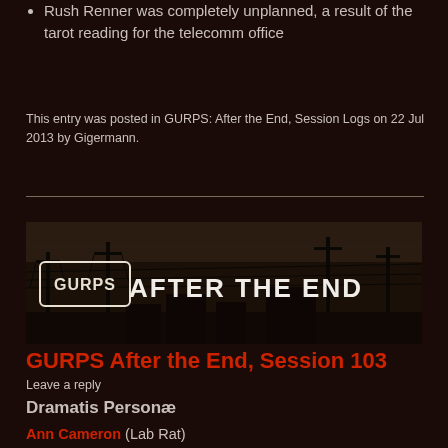Rush Renner was completely unplanned, a result of the tarot reading for the telecomm office
This entry was posted in GURPS: After the End, Session Logs on 22 Jul 2013 by Gigermann.
[Figure (illustration): GURPS After the End banner image showing a post-apocalyptic scene with power lines and dark sky, with the text 'GURPS AFTER THE END']
GURPS After the End, Session 103
Leave a reply
Dramatis Personæ
Ann Cameron (Lab Rat)
John Cromartie (Rigil Kent)